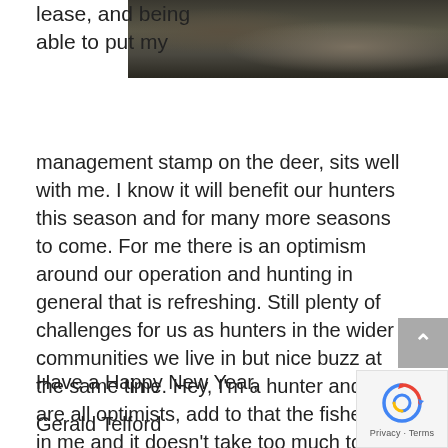[Figure (photo): Outdoor/nature photograph showing dark rocky terrain with what appears to be a deer or stag in a wilderness setting]
lease, and being able to put my management stamp on the deer, sits well with me. I know it will benefit our hunters this season and for many more seasons to come. For me there is an optimism around our operation and hunting in general that is refreshing. Still plenty of challenges for us as hunters in the wider communities we live in but nice buzz at the same time. Hey, I'm a hunter and we are all optimists, add to that the fisherman in me and it doesn't take too much to be excited about the next season.
Have a Happy New Year,
Gerald Telford